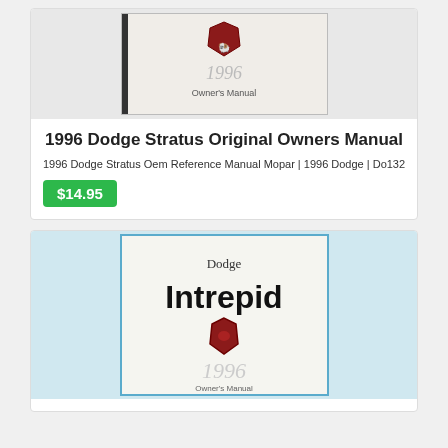[Figure (photo): Photo of 1996 Dodge Stratus Owner's Manual cover showing Dodge ram logo and '1996 Owner's Manual' text]
1996 Dodge Stratus Original Owners Manual
1996 Dodge Stratus Oem Reference Manual Mopar | 1996 Dodge | Do132
$14.95
[Figure (photo): Photo of 1996 Dodge Intrepid Owner's Manual cover showing 'Dodge Intrepid' text, Dodge ram logo, and '1996 Owner's Manual' text]